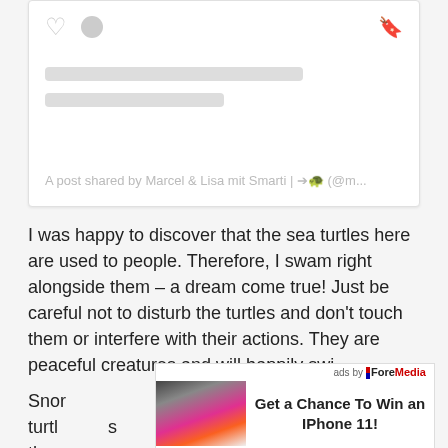[Figure (screenshot): Social media post card with loading skeleton — heart and circle icons top left, bookmark icon top right, two gray skeleton lines for content, caption text at bottom reading 'A post shared by Marcel & Lisa mit Smarti | ➔🐢 (@m...']
A post shared by Marcel & Lisa mit Smarti | ➔🐢 (@m...
I was happy to discover that the sea turtles here are used to people. Therefore, I swam right alongside them – a dream come true! Just be careful not to disturb the turtles and don't touch them or interfere with their actions. They are peaceful creatures and will happily swi
[Figure (screenshot): Advertisement overlay: 'ads by ForeMedia' label at top right, iPhone image on left, text 'Get a Chance To Win an IPhone 11!' on right]
Snor turtl s th